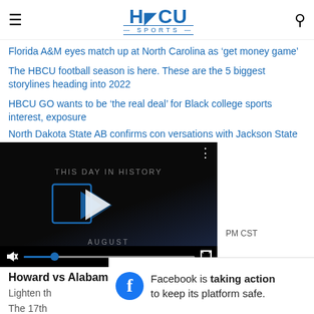HBCU SPORTS
Florida A&M eyes match up at North Carolina as 'get money game'
The HBCU football season is here. These are the 5 biggest storylines heading into 2022
HBCU GO wants to be 'the real deal' for Black college sports interest, exposure
North Dakota State AB confirms conversations with Jackson State
[Figure (screenshot): Embedded video player showing 'THIS DAY IN HISTORY' with AUGUST label, progress bar at ~18%, muted, with more options icon]
PM CST
Howard vs Alabama State Game Updates: 6:00pm CST
Lighten th
The 17th
[Figure (screenshot): Facebook ad banner: 'Facebook is taking action to keep its platform safe.' with close button]